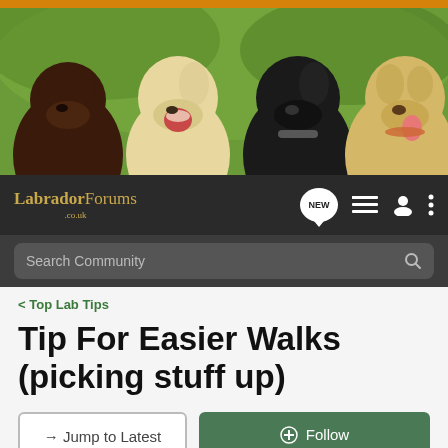[Figure (photo): Banner photo of four Labrador Retrievers (chocolate, cream, black, and yellow) sitting together against a green outdoor background]
LabradorForums .co.uk — navigation bar with NEW posts button, list icon, user icon, and menu icon, plus Search Community search bar
< Top Lab Tips
Tip For Easier Walks (picking stuff up)
→ Jump to Latest   ✚ Follow
1 - 6 of 6 Posts